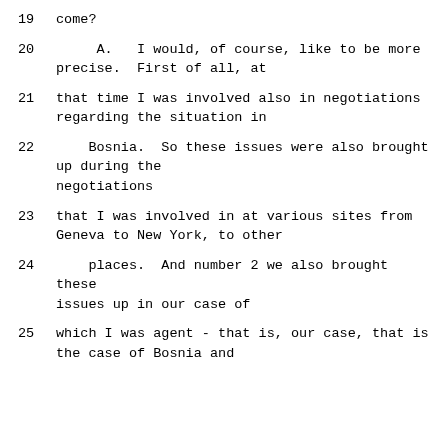19    come?
20         A.   I would, of course, like to be more precise.  First of all, at
21      that time I was involved also in negotiations regarding the situation in
22      Bosnia.  So these issues were also brought up during the negotiations
23      that I was involved in at various sites from Geneva to New York, to other
24      places.  And number 2 we also brought these issues up in our case of
25      which I was agent - that is, our case, that is the case of Bosnia and